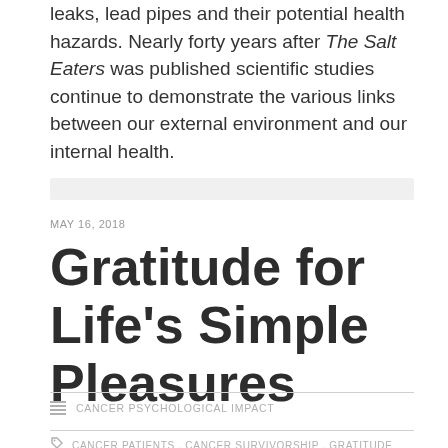leaks, lead pipes and their potential health hazards. Nearly forty years after The Salt Eaters was published scientific studies continue to demonstrate the various links between our external environment and our internal health.
MAY 16, 2018
Gratitude for Life's Simple Pleasures
CANCER PSYCHOLOGICAL IMPACT
CANCER PATIENTS , CANCER SURVIVORSHIP , GRATITUDE